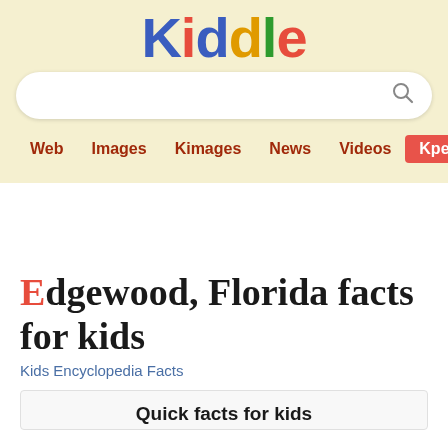Kiddle
Edgewood, Florida facts for kids
Kids Encyclopedia Facts
Quick facts for kids